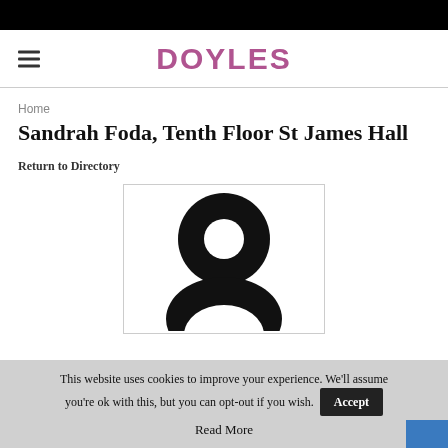DOYLES
Home
Sandrah Foda, Tenth Floor St James Hall
Return to Directory
[Figure (photo): Circular profile image placeholder — black donut/person silhouette icon on white background with light gray border]
This website uses cookies to improve your experience. We'll assume you're ok with this, but you can opt-out if you wish. Accept
Read More